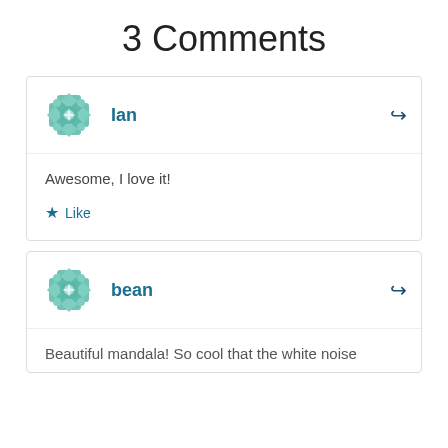3 Comments
Ian
Awesome, I love it!
Like
bean
Beautiful mandala! So cool that the white noise